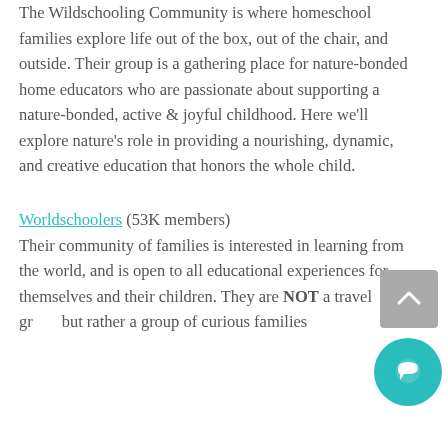The Wildschooling Community is where homeschool families explore life out of the box, out of the chair, and outside. Their group is a gathering place for nature-bonded home educators who are passionate about supporting a nature-bonded, active & joyful childhood. Here we'll explore nature's role in providing a nourishing, dynamic, and creative education that honors the whole child.
Worldschoolers (53K members) Their community of families is interested in learning from the world and is open to all educational experiences for themselves and their children. They are NOT a travel gr... but rather a group of curious families...